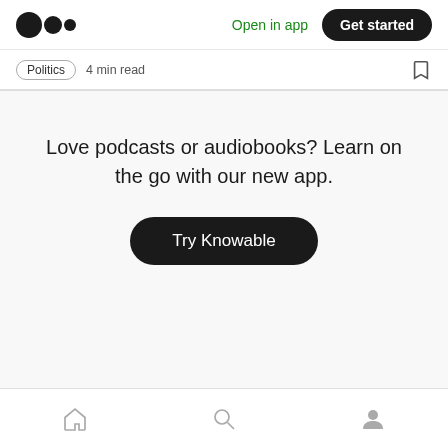Medium logo | Open in app | Get started
Politics  4 min read
Love podcasts or audiobooks? Learn on the go with our new app.
Try Knowable
Recommended from Medium
Home | Search | Profile